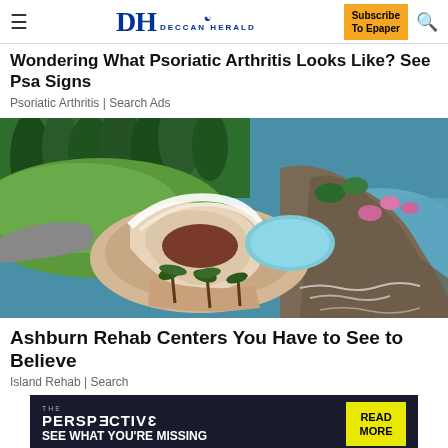DH DECCAN HERALD | Subscribe To Epaper
Wondering What Psoriatic Arthritis Looks Like? See Psa Signs
Psoriatic Arthritis | Search Ads
[Figure (photo): Aerial view of a luxury spiral-shaped resort building on a coastal cliff with a pool, surrounded by trees and ocean]
Ashburn Rehab Centers You Have to See to Believe
Island Rehab | Search
[Figure (infographic): Dark banner advertisement reading THE PERSPECTIVE SEE WHAT YOU'RE MISSING with READ MORE button in yellow]